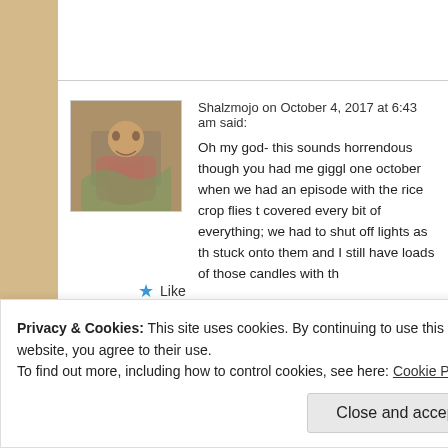Shalzmojo on October 4, 2017 at 6:43 am said: Oh my god- this sounds horrendous though you had me giggl one october when we had an episode with the rice crop flies t covered every bit of everything; we had to shut off lights as th stuck onto them and I still have loads of those candles with th
Like
Leave a Reply
Privacy & Cookies: This site uses cookies. By continuing to use this website, you agree to their use.
To find out more, including how to control cookies, see here: Cookie Policy
Close and accept